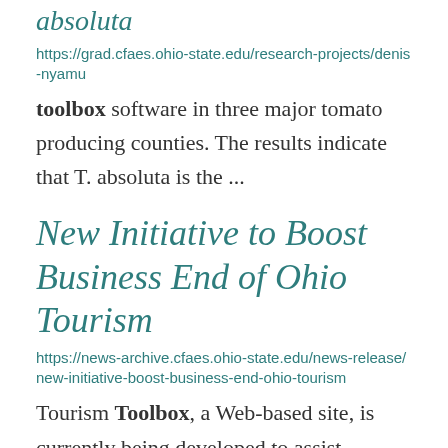absoluta
https://grad.cfaes.ohio-state.edu/research-projects/denis-nyamu
toolbox software in three major tomato producing counties. The results indicate that T. absoluta is the ...
New Initiative to Boost Business End of Ohio Tourism
https://news-archive.cfaes.ohio-state.edu/news-release/new-initiative-boost-business-end-ohio-tourism
Tourism Toolbox, a Web-based site, is currently being developed to assist industry professionals and ... South Centers at Piketon. "The Ohio Tourism